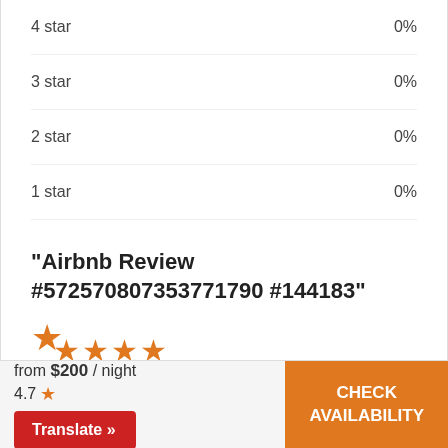4 star   0%
3 star   0%
2 star   0%
1 star   0%
"Airbnb Review #572570807353771790 #144183"
[Figure (other): Five orange star rating icons displayed in a stacked/offset arrangement]
by Review from Airbnb Guest #144183
from $200 / night
4.7 ★
Translate »
CHECK AVAILABILITY